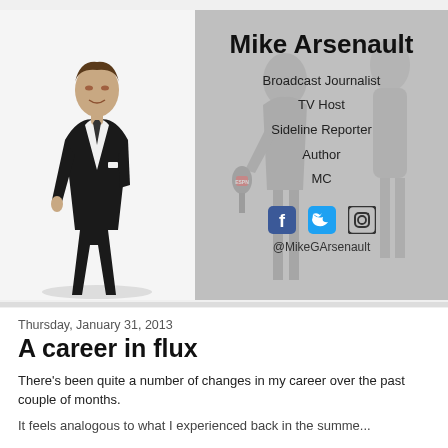[Figure (photo): Banner image: left side shows a man in a black suit standing against white background; right side shows a gray-toned background with a person holding a microphone, overlaid with text and social media icons.]
Mike Arsenault
Broadcast Journalist
TV Host
Sideline Reporter
Author
MC
@MikeGArsenault
Thursday, January 31, 2013
A career in flux
There's been quite a number of changes in my career over the past couple of months.
It feels analogous to what I experienced back in the summer...